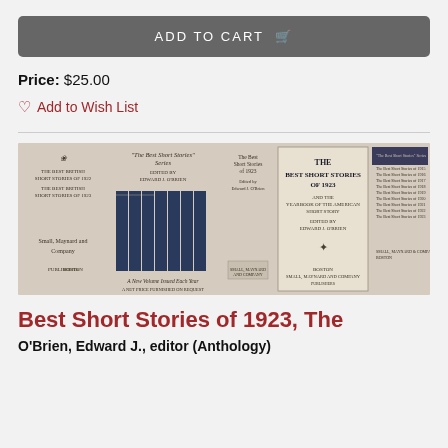ADD TO CART 🛒
Price: $25.00
Add to Wish List
[Figure (photo): Sepia-toned collage of book covers and spine view for 'The Best Short Stories' series published by Small, Maynard and Company, Boston. Shows multiple panels: series listing, row of book spines, title page for Best Short Stories of 1923, and back matter listing.]
Best Short Stories of 1923, The
O'Brien, Edward J., editor (Anthology)